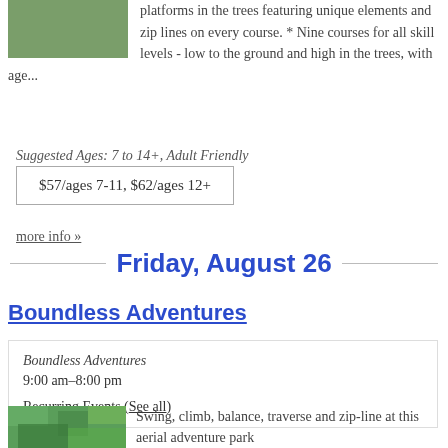platforms in the trees featuring unique elements and zip lines on every course. * Nine courses for all skill levels - low to the ground and high in the trees, with age...
Suggested Ages: 7 to 14+, Adult Friendly
$57/ages 7-11, $62/ages 12+
more info »
Friday, August 26
Boundless Adventures
Boundless Adventures
9:00 am–8:00 pm
Recurring Events (See all)
[Figure (photo): Aerial view of trees, outdoor adventure park]
Swing, climb, balance, traverse and zip-line at this aerial adventure park